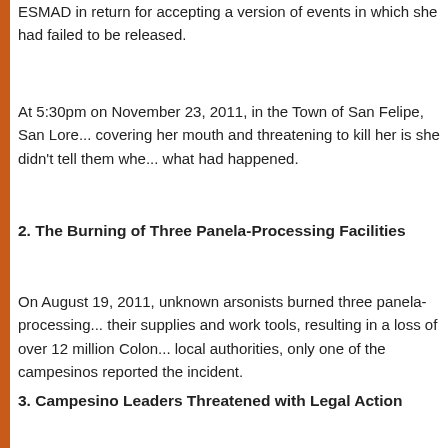ESMAD in return for accepting a version of events in which she had failed to be released.
At 5:30pm on November 23, 2011, in the Town of San Felipe, San Lore... covering her mouth and threatening to kill her is she didn't tell them whe... what had happened.
2. The Burning of Three Panela-Processing Facilities
On August 19, 2011, unknown arsonists burned three panela-processing... their supplies and work tools, resulting in a loss of over 12 million Colon... local authorities, only one of the campesinos reported the incident.
3. Campesino Leaders Threatened with Legal Action
On August 25, 2011, in San Lorenzo, mine worker Yovany Jurado slande... his life. For lack of evidence, Yovany had to retract his complaint.